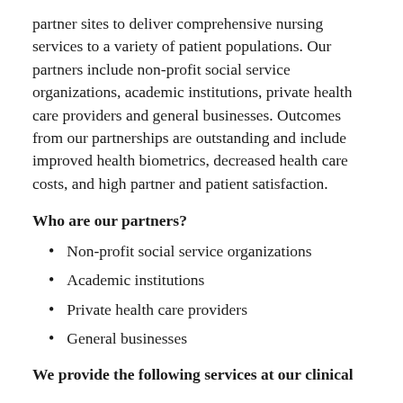partner sites to deliver comprehensive nursing services to a variety of patient populations. Our partners include non-profit social service organizations, academic institutions, private health care providers and general businesses. Outcomes from our partnerships are outstanding and include improved health biometrics, decreased health care costs, and high partner and patient satisfaction.
Who are our partners?
Non-profit social service organizations
Academic institutions
Private health care providers
General businesses
We provide the following services at our clinical